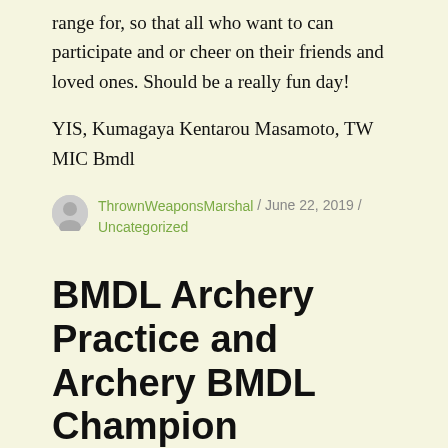range for, so that all who want to can participate and or cheer on their friends and loved ones. Should be a really fun day!
YIS, Kumagaya Kentarou Masamoto, TW MIC Bmdl
ThrownWeaponsMarshal / June 22, 2019 / Uncategorized
BMDL Archery Practice and Archery BMDL Champion Tournament
Join us 11am – 2pm, tomorrow Sunday June